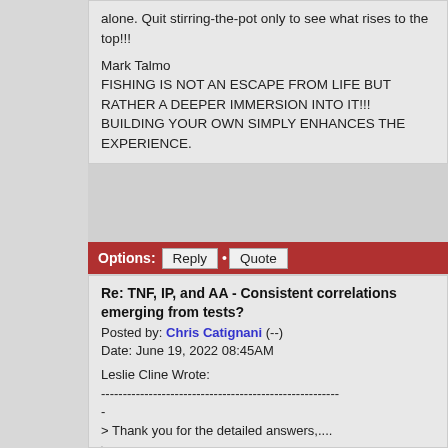alone. Quit stirring-the-pot only to see what rises to the top!!!
Mark Talmo
FISHING IS NOT AN ESCAPE FROM LIFE BUT RATHER A DEEPER IMMERSION INTO IT!!! BUILDING YOUR OWN SIMPLY ENHANCES THE EXPERIENCE.
Options: Reply · Quote
Re: TNF, IP, and AA - Consistent correlations emerging from tests?
Posted by: Chris Catignani (--)
Date: June 19, 2022 08:45AM
Leslie Cline Wrote:
-------------------------------------------------------
-
> Thank you for the detailed answers,....
> ...
> * Lastly, the caster's skill.
I think that "caster's skill" is potentially the most important aspect of casting characteristics.
It controls all aspects of what "we think"